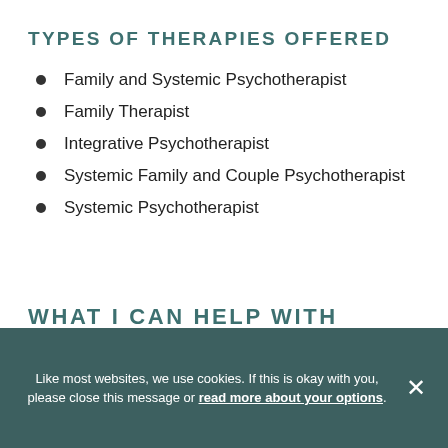TYPES OF THERAPIES OFFERED
Family and Systemic Psychotherapist
Family Therapist
Integrative Psychotherapist
Systemic Family and Couple Psychotherapist
Systemic Psychotherapist
WHAT I CAN HELP WITH
Like most websites, we use cookies. If this is okay with you, please close this message or read more about your options.